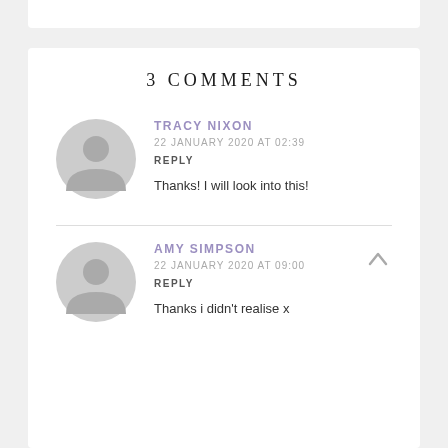3 COMMENTS
TRACY NIXON
22 JANUARY 2020 AT 02:39
REPLY
Thanks! I will look into this!
AMY SIMPSON
22 JANUARY 2020 AT 09:00
REPLY
Thanks i didn't realise x